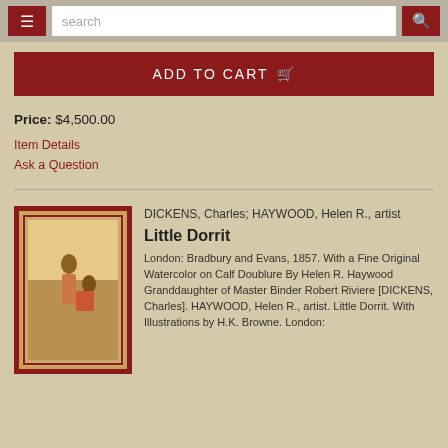search
ADD TO CART
Price: $4,500.00
Item Details
Ask a Question
DICKENS, Charles; HAYWOOD, Helen R., artist
Little Dorrit
London: Bradbury and Evans, 1857. With a Fine Original Watercolor on Calf Doublure By Helen R. Haywood Granddaughter of Master Binder Robert Riviere [DICKENS, Charles]. HAYWOOD, Helen R., artist. Little Dorrit. With Illustrations by H.K. Browne. London: